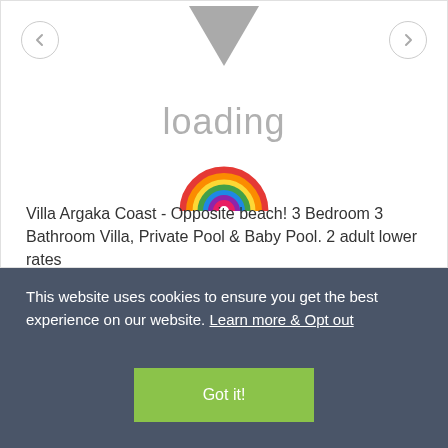[Figure (screenshot): Loading state of a villa listing page with a downward-pointing grey triangle at top, a rainbow emoji/icon, navigation arrows on left and right, and 'loading' text in grey]
Villa Argaka Coast - Opposite beach! 3 Bedroom 3 Bathroom Villa, Private Pool & Baby Pool. 2 adult lower rates
This website uses cookies to ensure you get the best experience on our website. Learn more & Opt out
Got it!